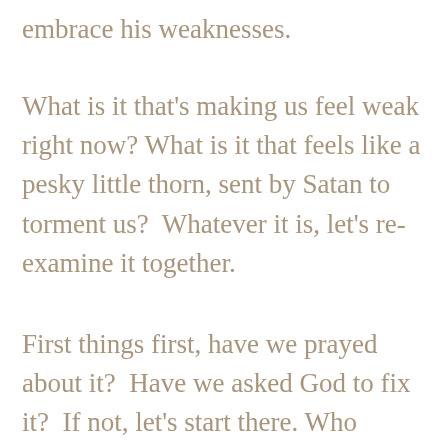embrace his weaknesses.
What is it that's making us feel weak right now? What is it that feels like a pesky little thorn, sent by Satan to torment us? Whatever it is, let's re-examine it together.
First things first, have we prayed about it? Have we asked God to fix it? If not, let's start there. Who knows, maybe He will. But, if we have prayed about it, (repeatedly) and God seems silent, then could it be that He's trying to teach